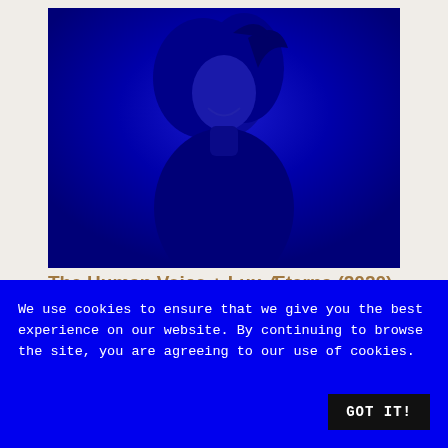[Figure (photo): A person with long hair photographed under deep blue lighting, smiling, against a dark blue background. The image is strongly color-graded in blue tones.]
The Human Voice + Lux Æterna (2020)
(Gaspar Noe, Pedro Almodóvar)
We use cookies to ensure that we give you the best experience on our website. By continuing to browse the site, you are agreeing to our use of cookies.